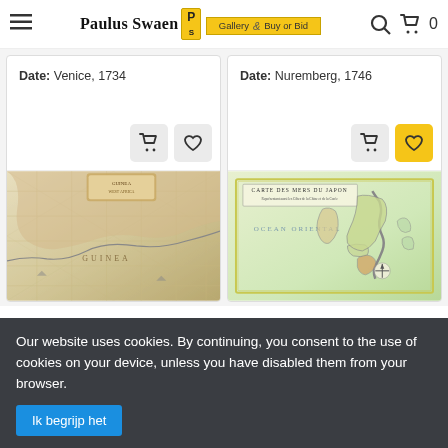Paulus Swaen Gallery & Buy or Bid
Date: Venice, 1734
Date: Nuremberg, 1746
[Figure (photo): Antique nautical map of Guinea / West Africa coast with decorative cartouche at top, grid lines, and coastal features in muted brown, pink, and yellow tones]
[Figure (photo): Antique map titled 'Carte des Mers du Japon' showing Japan and surrounding seas with Ocean Oriental label, colored coastal regions in green and pink tones, with compass rose]
Our website uses cookies. By continuing, you consent to the use of cookies on your device, unless you have disabled them from your browser.
Ik begrijp het